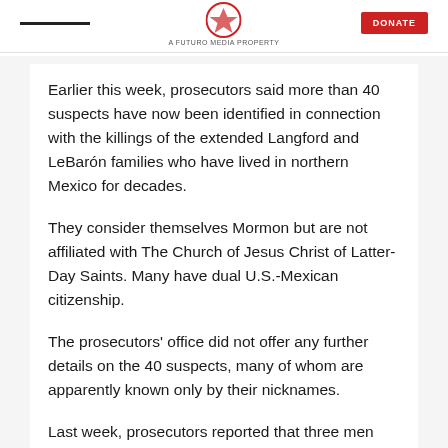A FUTURO MEDIA PROPERTY
Earlier this week, prosecutors said more than 40 suspects have now been identified in connection with the killings of the extended Langford and LeBarón families who have lived in northern Mexico for decades.
They consider themselves Mormon but are not affiliated with The Church of Jesus Christ of Latter-Day Saints. Many have dual U.S.-Mexican citizenship.
The prosecutors' office did not offer any further details on the 40 suspects, many of whom are apparently known only by their nicknames.
Last week, prosecutors reported that three men were arrested and charged with organized crime for drug offenses, though